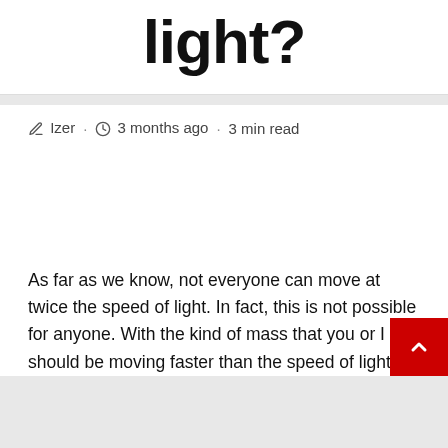light?
✎ Izer · ⏰ 3 months ago · 3 min read
As far as we know, not everyone can move at twice the speed of light. In fact, this is not possible for anyone. With the kind of mass that you or I should be moving faster than the speed of light.